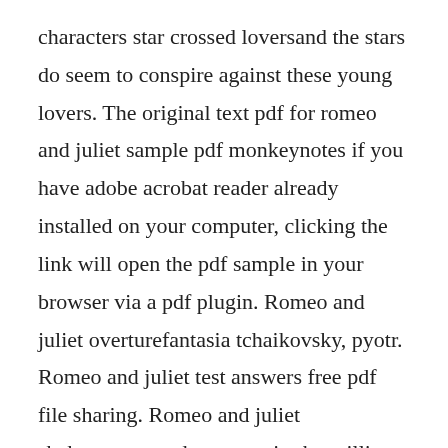characters star crossed loversand the stars do seem to conspire against these young lovers. The original text pdf for romeo and juliet sample pdf monkeynotes if you have adobe acrobat reader already installed on your computer, clicking the link will open the pdf sample in your browser via a pdf plugin. Romeo and juliet overturefantasia tchaikovsky, pyotr. Romeo and juliet test answers free pdf file sharing. Romeo and juliet shakespeare made easy series by william shakespeare in chm, epub, fb2 download